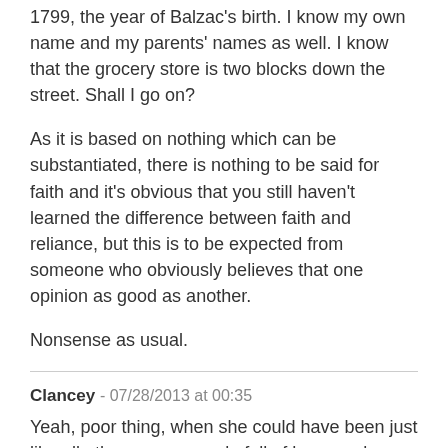1799, the year of Balzac's birth. I know my own name and my parents' names as well. I know that the grocery store is two blocks down the street. Shall I go on?
As it is based on nothing which can be substantiated, there is nothing to be said for faith and it's obvious that you still haven't learned the difference between faith and reliance, but this is to be expected from someone who obviously believes that one opinion as good as another.
Nonsense as usual.
Clancey - 07/28/2013 at 00:35
Yeah, poor thing, when she could have been just like all other young people full of hope and intelligence.
Reply